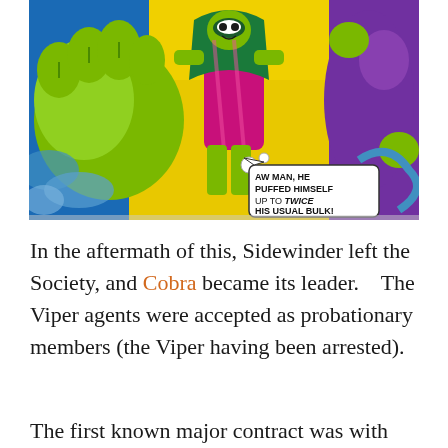[Figure (illustration): Comic book panel showing a muscular character with green hands puffing himself up, with another character in green and pink costume with a speech bubble reading 'AW MAN, HE PUFFED HIMSELF UP TO TWICE HIS USUAL BULK!']
In the aftermath of this, Sidewinder left the Society, and Cobra became its leader.    The Viper agents were accepted as probationary members (the Viper having been arrested).
The first known major contract was with